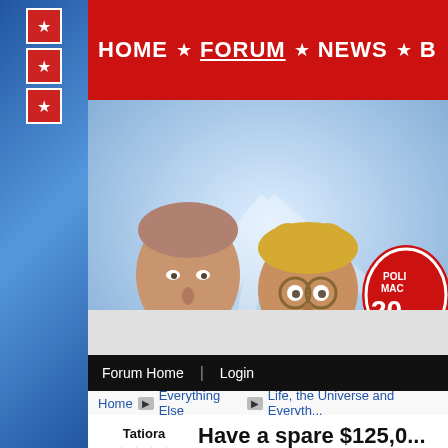[Figure (screenshot): Political forum website screenshot showing navigation bar with HOME, FORUM, NEWS links, animated cartoon political figures banner, forum breadcrumb navigation, and a forum post by user Tatiora about a $125,000 space trip]
HOME  FORUM  NEWS
Forum Home | Login
Home  Everything Else  Life, the Universe and Everything
Tatiora
Have a spare $125,0... leisurely trip to spac...
Space Perspective has re... Neptune